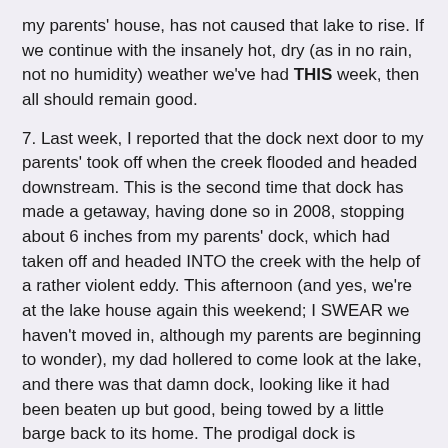my parents' house, has not caused that lake to rise. If we continue with the insanely hot, dry (as in no rain, not no humidity) weather we've had THIS week, then all should remain good.
7. Last week, I reported that the dock next door to my parents' took off when the creek flooded and headed downstream. This is the second time that dock has made a getaway, having done so in 2008, stopping about 6 inches from my parents' dock, which had taken off and headed INTO the creek with the help of a rather violent eddy. This afternoon (and yes, we're at the lake house again this weekend; I SWEAR we haven't moved in, although my parents are beginning to wonder), my dad hollered to come look at the lake, and there was that damn dock, looking like it had been beaten up but good, being towed by a little barge back to its home. The prodigal dock is temporarily tethered to some trees, having traveled about half a mile downstream before stopping, obviously violently. I'm not really sure why this is on my thankful list, because it isn't my dock, but it made my day to see it reluctantly dragged home again, obviously against its will.